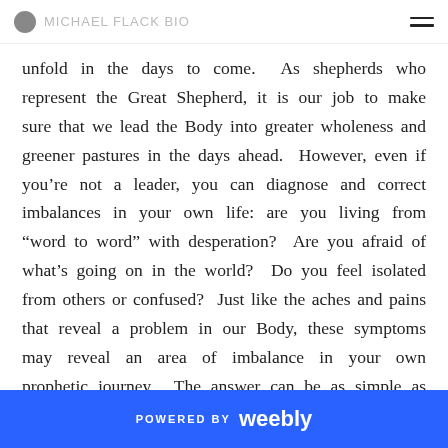MICHAEL FLACK BIO
unfold in the days to come.  As shepherds who represent the Great Shepherd, it is our job to make sure that we lead the Body into greater wholeness and greener pastures in the days ahead.  However, even if you’re not a leader, you can diagnose and correct imbalances in your own life: are you living from “word to word” with desperation?  Are you afraid of what’s going on in the world?  Do you feel isolated from others or confused?  Just like the aches and pains that reveal a problem in our Body, these symptoms may reveal an area of imbalance in your own prophetic journey.  The answer can be as simple as diversifying the wells you are drinking from so that
POWERED BY weebly